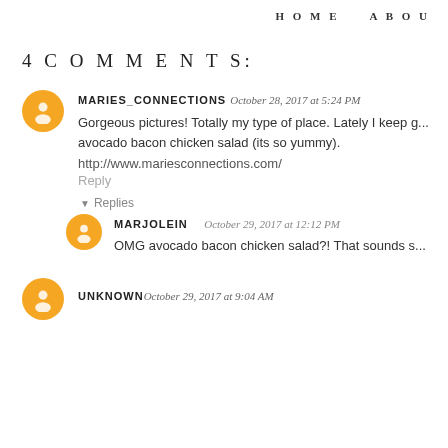HOME   ABOU
4 COMMENTS:
MARIES_CONNECTIONS October 28, 2017 at 5:24 PM
Gorgeous pictures! Totally my type of place. Lately I keep g... avocado bacon chicken salad (its so yummy).
http://www.mariesconnections.com/
Reply
▼ Replies
MARJOLEIN   October 29, 2017 at 12:12 PM
OMG avocado bacon chicken salad?! That sounds s...
UNKNOWN October 29, 2017 at 9:04 AM